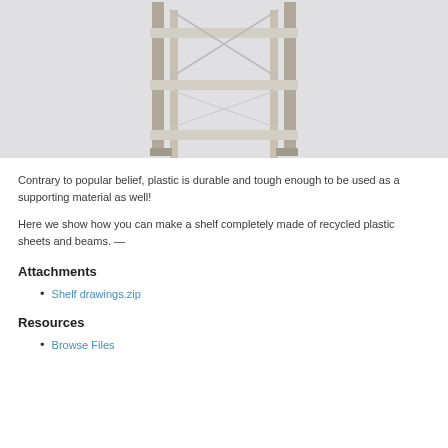[Figure (photo): A metal and wood shelving unit with cross-brace back supports, photographed against a light gray background. The shelf has multiple horizontal shelves supported by metal frame legs.]
Contrary to popular belief, plastic is durable and tough enough to be used as a supporting material as well!
Here we show how you can make a shelf completely made of recycled plastic sheets and beams. —
Attachments
Shelf drawings.zip
Resources
Browse Files